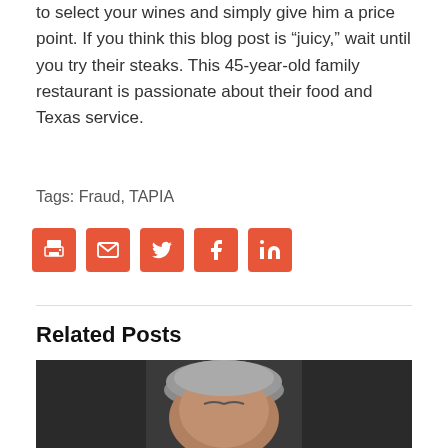to select your wines and simply give him a price point. If you think this blog post is “juicy,” wait until you try their steaks. This 45-year-old family restaurant is passionate about their food and Texas service.
Tags: Fraud, TAPIA
[Figure (other): Social sharing icons: print, email, Twitter, Facebook, LinkedIn — all in orange/red color]
Related Posts
[Figure (photo): Photo of a man with grey/silver hair, cropped at forehead level, dark background]